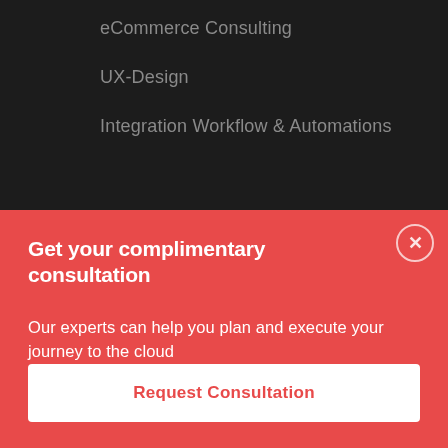eCommerce Consulting
UX-Design
Integration Workflow & Automations
Get your complimentary consultation
Our experts can help you plan and execute your journey to the cloud
Request Consultation
Sugar Land,
Texas - 77479
Call us at +1 (281) 241-9393
Talk to Us